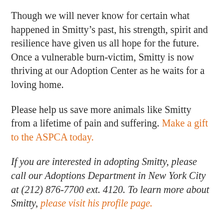Though we will never know for certain what happened in Smitty’s past, his strength, spirit and resilience have given us all hope for the future. Once a vulnerable burn-victim, Smitty is now thriving at our Adoption Center as he waits for a loving home.
Please help us save more animals like Smitty from a lifetime of pain and suffering. Make a gift to the ASPCA today.
If you are interested in adopting Smitty, please call our Adoptions Department in New York City at (212) 876-7700 ext. 4120. To learn more about Smitty, please visit his profile page.